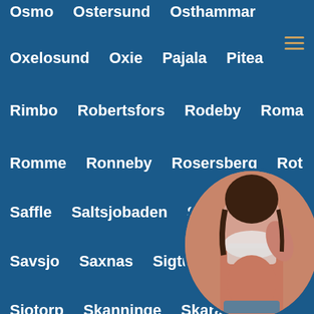Osmo
Ostersund
Osthammar
Oxelosund
Oxie
Pajala
Pitea
Rimbo
Robertsfors
Rodeby
Roma
Romme
Ronneby
Rosersberg
Rot
Saffle
Saltsjobaden
Satra brunn
Savsjo
Saxnas
Sigtuna
Sjobo
Sjotorp
Skanninge
Skara
Skarhamn
Skede
Skillingaryd
Skinnskatteberg
Skovde
Skultuna
Skurup
Smalandsstenar
Smedjebacke
[Figure (photo): Circular cropped photo of a woman in the bottom-right corner of the page, overlapping the text links.]